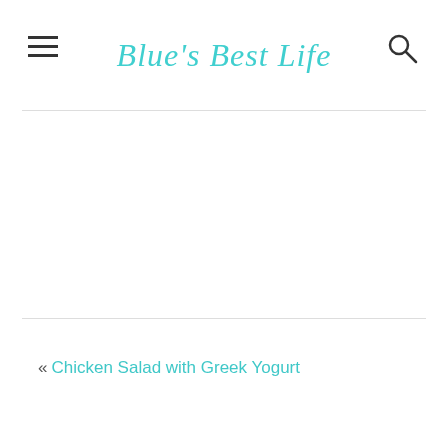Blue's Best Life
« Chicken Salad with Greek Yogurt
Crustless Mushroom Quiche »